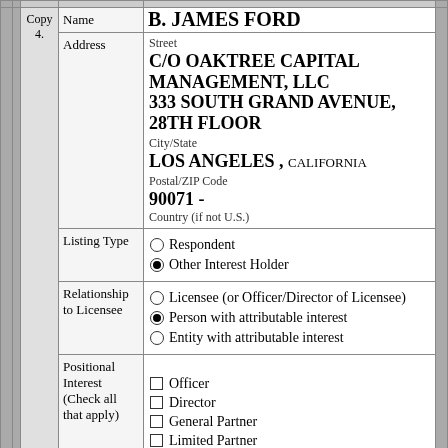| Copy | Field | Value |
| --- | --- | --- |
| Copy 4. | Name | B. JAMES FORD |
|  | Address | Street
C/O OAKTREE CAPITAL MANAGEMENT, LLC
333 SOUTH GRAND AVENUE, 28TH FLOOR
City/State
LOS ANGELES , CALIFORNIA
Postal/ZIP Code
90071 -
Country (if not U.S.) |
|  | Listing Type | ○ Respondent
● Other Interest Holder |
|  | Relationship to Licensee | ○ Licensee (or Officer/Director of Licensee)
● Person with attributable interest
○ Entity with attributable interest |
|  | Positional Interest (Check all that apply) | □ Officer
□ Director
□ General Partner
□ Limited Partner
□ LC/LLC/PLLC Member |